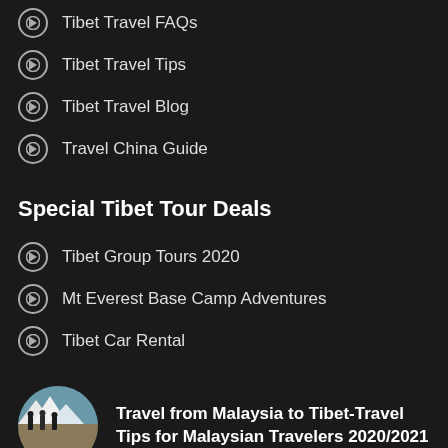Tibet Travel FAQs
Tibet Travel Tips
Tibet Travel Blog
Travel China Guide
Special Tibet Tour Deals
Tibet Group Tours 2020
Mt Everest Base Camp Adventures
Tibet Car Rental
[Figure (photo): Circular thumbnail photo of people with mountains in the background]
Travel from Malaysia to Tibet-Travel Tips for Malaysian Travelers 2020/2021
[Figure (map): Circular thumbnail map of New Zealand]
Travel between Auckland,New Zealand and Tibet